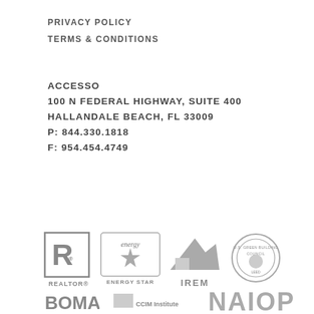PRIVACY POLICY
TERMS & CONDITIONS
ACCESSO
100 N FEDERAL HIGHWAY, SUITE 400
HALLANDALE BEACH, FL 33009
P: 844.330.1818
F: 954.454.4749
[Figure (logo): REALTOR logo — stylized R in a square box with REALTOR text below]
[Figure (logo): ENERGY STAR logo — star with 'energy' text, ENERGY STAR below]
[Figure (logo): IREM logo — building/roof graphic with IREM text below]
[Figure (logo): Green Building Council circular badge logo]
[Figure (logo): BOMA logo]
[Figure (logo): CCIM Institute logo]
[Figure (logo): NAIOP logo]